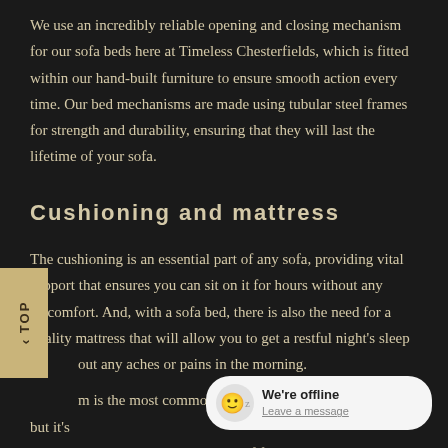We use an incredibly reliable opening and closing mechanism for our sofa beds here at Timeless Chesterfields, which is fitted within our hand-built furniture to ensure smooth action every time. Our bed mechanisms are made using tubular steel frames for strength and durability, ensuring that they will last the lifetime of your sofa.
Cushioning and mattress
The cushioning is an essential part of any sofa, providing vital support that ensures you can sit on it for hours without any discomfort. And, with a sofa bed, there is also the need for a quality mattress that will allow you to get a restful night's sleep without any aches or pains in the morning.
Foam is the most commonly used cushion filling for sofas, but it's important to realise that not all of foams are created equal. Many mass-produced models will make use of lower density substances that use softer material that's full of air bubbles to fill their cushions. These offer less resistance and will compress and sag much more quickly than higher density foam.